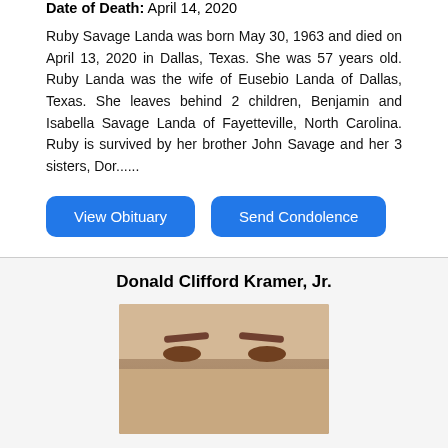Date of Death: April 14, 2020
Ruby Savage Landa was born May 30, 1963 and died on April 13, 2020 in Dallas, Texas. She was 57 years old. Ruby Landa was the wife of Eusebio Landa of Dallas, Texas. She leaves behind 2 children, Benjamin and Isabella Savage Landa of Fayetteville, North Carolina. Ruby is survived by her brother John Savage and her 3 sisters, Dor......
Donald Clifford Kramer, Jr.
[Figure (photo): Portrait photo of Donald Clifford Kramer, Jr., showing a man's face from the forehead to below the eyes.]